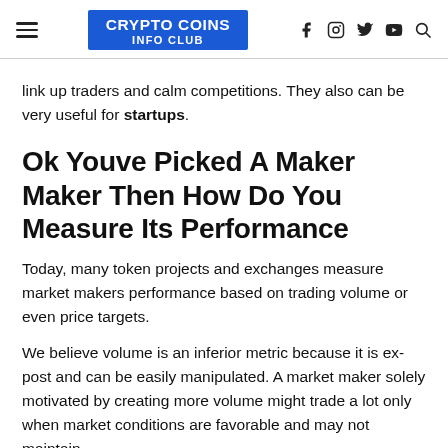CRYPTO COINS INFO CLUB
link up traders and calm competitions. They also can be very useful for startups.
Ok Youve Picked A Maker Maker Then How Do You Measure Its Performance
Today, many token projects and exchanges measure market makers performance based on trading volume or even price targets.
We believe volume is an inferior metric because it is ex-post and can be easily manipulated. A market maker solely motivated by creating more volume might trade a lot only when market conditions are favorable and may not maintain